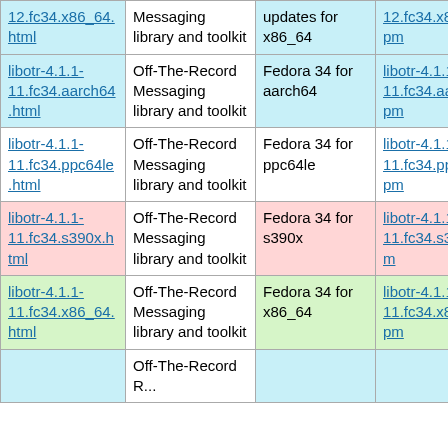|  |  |  |  |
| --- | --- | --- | --- |
| 12.fc34.x86_64.html | Messaging library and toolkit | updates for x86_64 | 12.fc34.x86_64.rpm |
| libotr-4.1.1-11.fc34.aarch64.html | Off-The-Record Messaging library and toolkit | Fedora 34 for aarch64 | libotr-4.1.1-11.fc34.aarch64.rpm |
| libotr-4.1.1-11.fc34.ppc64le.html | Off-The-Record Messaging library and toolkit | Fedora 34 for ppc64le | libotr-4.1.1-11.fc34.ppc64le.rpm |
| libotr-4.1.1-11.fc34.s390x.html | Off-The-Record Messaging library and toolkit | Fedora 34 for s390x | libotr-4.1.1-11.fc34.s390x.rpm |
| libotr-4.1.1-11.fc34.x86_64.html | Off-The-Record Messaging library and toolkit | Fedora 34 for x86_64 | libotr-4.1.1-11.fc34.x86_64.rpm |
|  | Off-The-Record... |  |  |